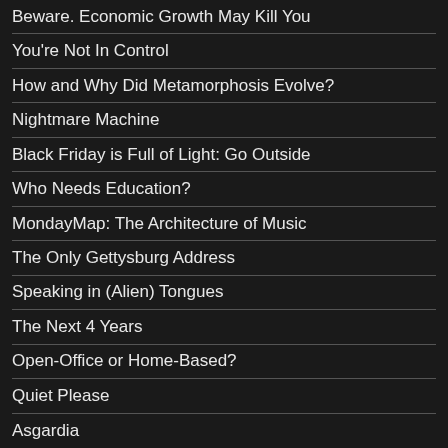Beware. Economic Growth May Kill You
You're Not In Control
How and Why Did Metamorphosis Evolve?
Nightmare Machine
Black Friday is Full of Light: Go Outside
Who Needs Education?
MondayMap: The Architecture of Music
The Only Gettysburg Address
Speaking in (Alien) Tongues
The Next 4 Years
Open-Office or Home-Based?
Quiet Please
Asgardia